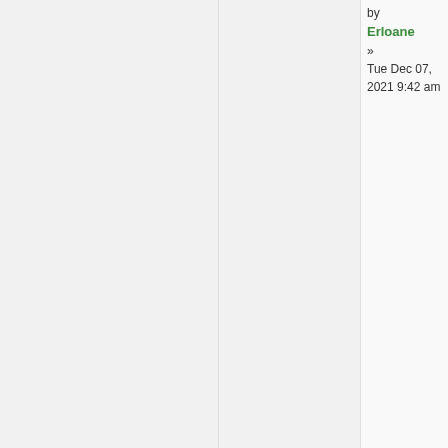[Figure (illustration): Flag image with red and white stripes and blue canton with white stars and a coat of arms]
Erloane
Diplomat

Posts: 752
Founded: Apr 03, 2021
Civil Rights Lovefest
by Erloane » Tue Dec 07, 2021 9:42 am